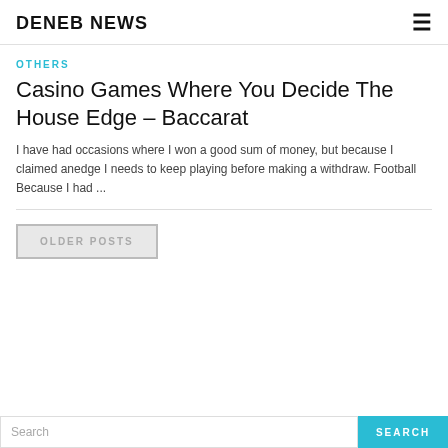DENEB NEWS
OTHERS
Casino Games Where You Decide The House Edge – Baccarat
I have had occasions where I won a good sum of money, but because I claimed anedge I needs to keep playing before making a withdraw. Football Because I had ...
OLDER POSTS
Search SEARCH